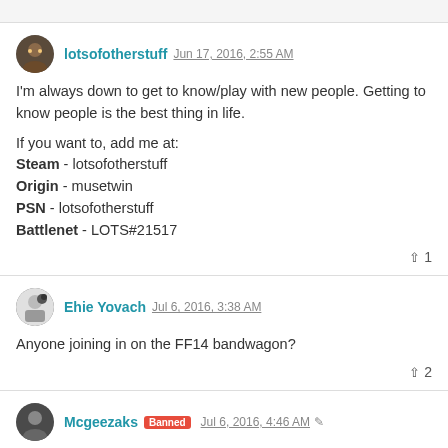lotsofotherstuff Jun 17, 2016, 2:55 AM
I'm always down to get to know/play with new people. Getting to know people is the best thing in life.

If you want to, add me at:
Steam - lotsofotherstuff
Origin - musetwin
PSN - lotsofotherstuff
Battlenet - LOTS#21517
Ehie Yovach Jul 6, 2016, 3:38 AM
Anyone joining in on the FF14 bandwagon?
Mcgeezaks Banned Jul 6, 2016, 4:46 AM
I get a few games on PC if anyones ever up for it...